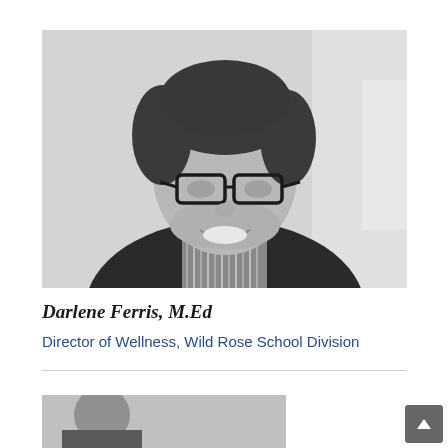[Figure (photo): Black and white professional headshot of a woman with short dark hair, wearing glasses and a dark jacket, smiling at the camera.]
Darlene Ferris, M.Ed
Director of Wellness, Wild Rose School Division
[Figure (photo): Partial black and white photo visible at bottom of page, cropped, showing a person.]